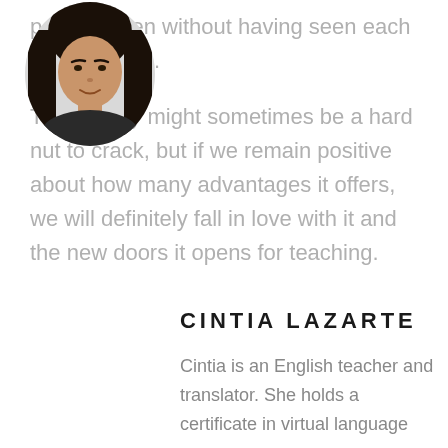people, even without having seen each other's faces.
Technology might sometimes be a hard nut to crack, but if we remain positive about how many advantages it offers, we will definitely fall in love with it and the new doors it opens for teaching.
[Figure (photo): Oval portrait photo of Cintia Lazarte, a woman with long dark hair, smiling slightly.]
CINTIA LAZARTE
Cintia is an English teacher and translator. She holds a certificate in virtual language